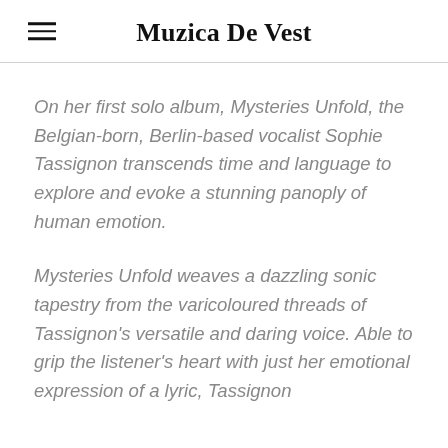Muzica De Vest
On her first solo album, Mysteries Unfold, the Belgian-born, Berlin-based vocalist Sophie Tassignon transcends time and language to explore and evoke a stunning panoply of human emotion.
Mysteries Unfold weaves a dazzling sonic tapestry from the varicoloured threads of Tassignon's versatile and daring voice. Able to grip the listener's heart with just her emotional expression of a lyric, Tassignon